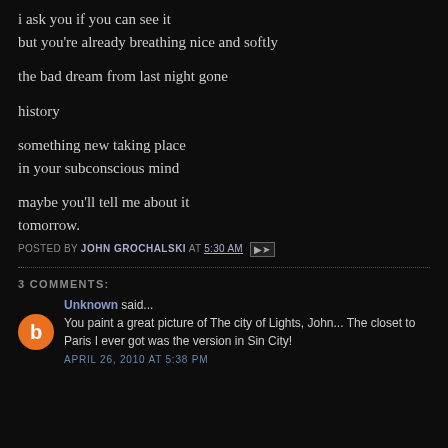i ask you if you can see it
but you're already breathing nice and softly

the bad dream from last night gone

history

something new taking place
in your subconscious mind

maybe you'll tell me about it
tomorrow.
POSTED BY JOHN GROCHALSKI AT 5:30 AM
3 COMMENTS:
Unknown said...
You paint a great picture of The city of Lights, John... The closet to Paris I ever got was the version in Sin City!
APRIL 26, 2010 AT 5:38 PM